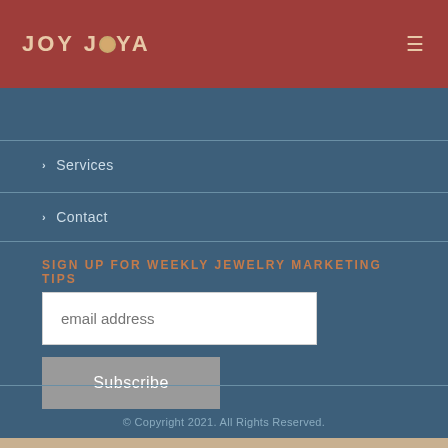JOY JOYA
Services
Contact
SIGN UP FOR WEEKLY JEWELRY MARKETING TIPS
email address
Subscribe
© Copyright 2021. All Rights Reserved.